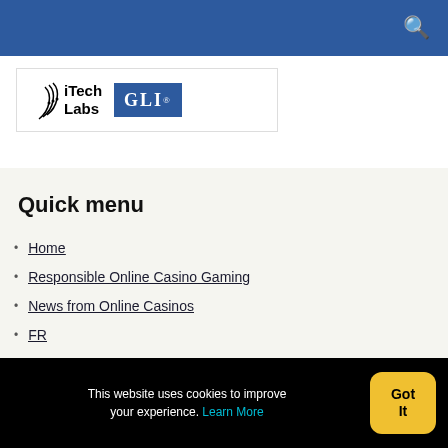Navigation bar with search icon
[Figure (logo): iTech Labs and GLI combined logo banner]
Quick menu
Home
Responsible Online Casino Gaming
News from Online Casinos
FR
This website uses cookies to improve your experience. Learn More  Got It